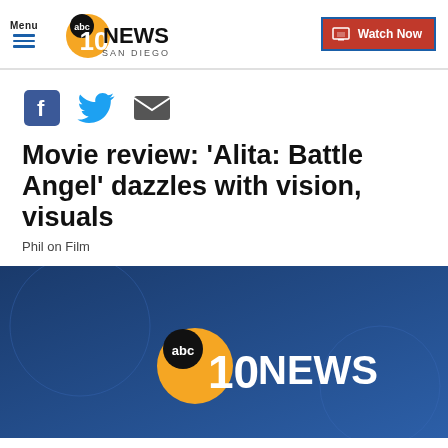Menu | abc 10 NEWS SAN DIEGO | Watch Now
[Figure (logo): Social sharing icons: Facebook, Twitter, Email/envelope]
Movie review: 'Alita: Battle Angel' dazzles with vision, visuals
Phil on Film
[Figure (screenshot): ABC 10 NEWS video thumbnail with blue background showing abc 10 NEWS logo]